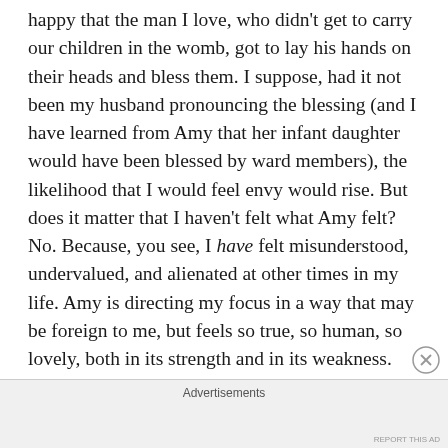happy that the man I love, who didn't get to carry our children in the womb, got to lay his hands on their heads and bless them. I suppose, had it not been my husband pronouncing the blessing (and I have learned from Amy that her infant daughter would have been blessed by ward members), the likelihood that I would feel envy would rise. But does it matter that I haven't felt what Amy felt? No. Because, you see, I have felt misunderstood, undervalued, and alienated at other times in my life. Amy is directing my focus in a way that may be foreign to me, but feels so true, so human, so lovely, both in its strength and in its weakness. How can I not love her for all she expresses here? How could
Advertisements